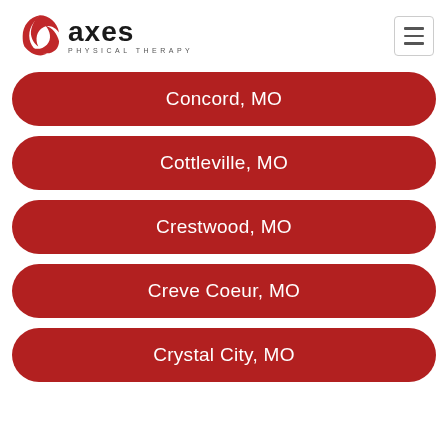axes PHYSICAL THERAPY
Concord, MO
Cottleville, MO
Crestwood, MO
Creve Coeur, MO
Crystal City, MO